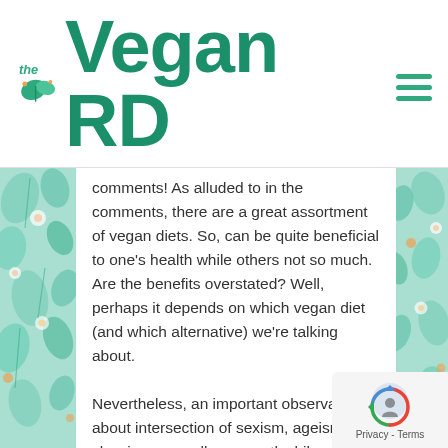[Figure (logo): The Vegan RD logo with leaf/plant icon in teal/green colors]
comments! As alluded to in the comments, there are a great assortment of vegan diets. So, can be quite beneficial to one's health while others not so much. Are the benefits overstated? Well, perhaps it depends on which vegan diet (and which alternative) we're talking about. Nevertheless, an important observation about intersection of sexism, ageism, and classism, as well as a worthwhile consideration regarding the fruitfulness of strategically employing or not employing “health” and “beauty” in winning over converts. Whatever helps animals and the planet works for me.
[Figure (other): reCAPTCHA privacy badge with Google logo and Privacy - Terms text]